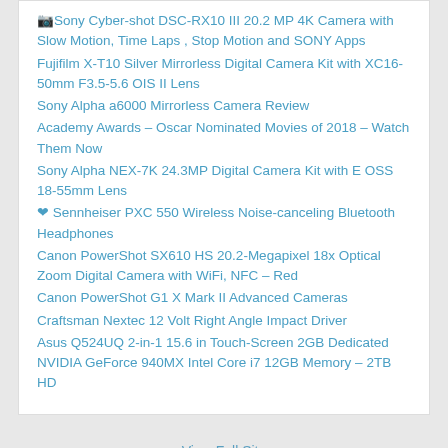📷 Sony Cyber-shot DSC-RX10 III 20.2 MP 4K Camera with Slow Motion, Time Laps , Stop Motion and SONY Apps
Fujifilm X-T10 Silver Mirrorless Digital Camera Kit with XC16-50mm F3.5-5.6 OIS II Lens
Sony Alpha a6000 Mirrorless Camera Review
Academy Awards – Oscar Nominated Movies of 2018 – Watch Them Now
Sony Alpha NEX-7K 24.3MP Digital Camera Kit with E OSS 18-55mm Lens
❤ Sennheiser PXC 550 Wireless Noise-canceling Bluetooth Headphones
Canon PowerShot SX610 HS 20.2-Megapixel 18x Optical Zoom Digital Camera with WiFi, NFC – Red
Canon PowerShot G1 X Mark II Advanced Cameras
Craftsman Nextec 12 Volt Right Angle Impact Driver
Asus Q524UQ 2-in-1 15.6 in Touch-Screen 2GB Dedicated NVIDIA GeForce 940MX Intel Core i7 12GB Memory – 2TB HD
View Full Site
Proudly powered by WordPress